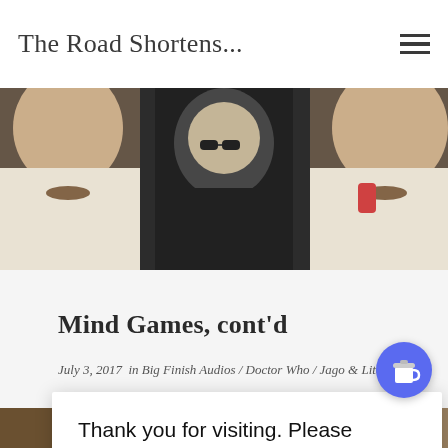The Road Shortens...
[Figure (photo): Hero banner image showing three men in dramatic noir style. Center figure wears dark coat and sunglasses. Flanking figures visible from chest/shoulders.]
Mind Games, cont'd
July 3, 2017 in Big Finish Audios / Doctor Who / Jago & Litefoot / .../ Jamie ...octor Who
Thank you for visiting. Please support me on my coding journey.
[Figure (illustration): Buy me a coffee circular button icon with coffee cup graphic in blue/purple circle]
[Figure (photo): Bottom strip image partially visible]